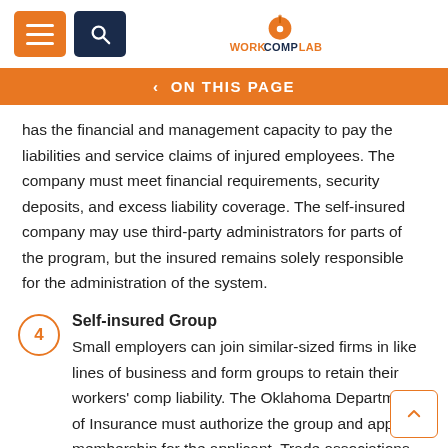WORKCOMPLAB
< ON THIS PAGE
has the financial and management capacity to pay the liabilities and service claims of injured employees. The company must meet financial requirements, security deposits, and excess liability coverage. The self-insured company may use third-party administrators for parts of the program, but the insured remains solely responsible for the administration of the system.
4 Self-insured Group
Small employers can join similar-sized firms in like lines of business and form groups to retain their workers' comp liability. The Oklahoma Department of Insurance must authorize the group and approve membership for the applicant. Trade associations and business groups